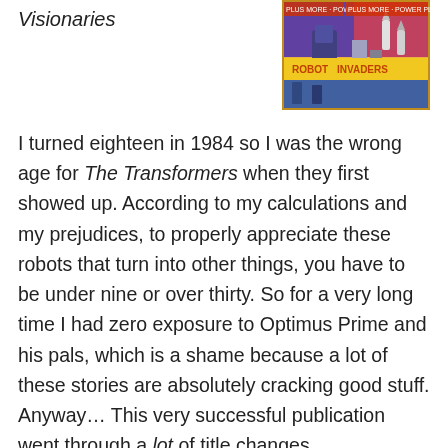Visionaries
[Figure (photo): Comic book cover image showing Robot Invaders with colorful action scenes]
I turned eighteen in 1984 so I was the wrong age for The Transformers when they first showed up. According to my calculations and my prejudices, to properly appreciate these robots that turn into other things, you have to be under nine or over thirty. So for a very long time I had zero exposure to Optimus Prime and his pals, which is a shame because a lot of these stories are absolutely cracking good stuff. Anyway… This very successful publication went through a lot of title changes…
#1: The Transformers